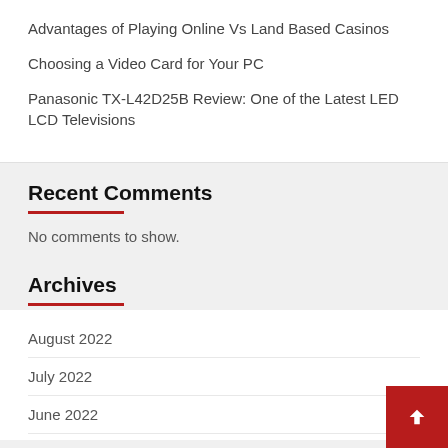Advantages of Playing Online Vs Land Based Casinos
Choosing a Video Card for Your PC
Panasonic TX-L42D25B Review: One of the Latest LED LCD Televisions
Recent Comments
No comments to show.
Archives
August 2022
July 2022
June 2022